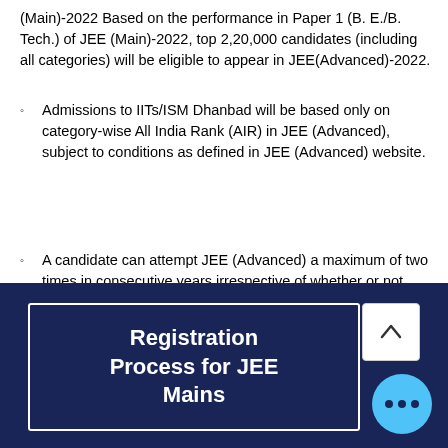(Main)-2022 Based on the performance in Paper 1 (B. E./B. Tech.) of JEE (Main)-2022, top 2,20,000 candidates (including all categories) will be eligible to appear in JEE(Advanced)-2022.
Admissions to IITs/ISM Dhanbad will be based only on category-wise All India Rank (AIR) in JEE (Advanced), subject to conditions as defined in JEE (Advanced) website.
A candidate can attempt JEE (Advanced) a maximum of two times in consecutive years irrespective of whether or not he/she passed the Qualifying Examination. The candidates, who have attempted JEE (Main) /JEE (Advanced) in 2020 or earlier, are NOT ELIGIBLE to appear in JEE(Advanced)–2022.
Registration Process for JEE Mains